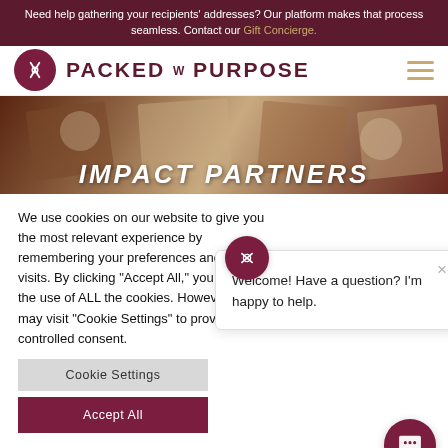Need help gathering your recipients' addresses? Our platform makes that process seamless. Contact our Gift Concierge.
[Figure (logo): Packed with Purpose logo: dark maroon circle with crossed fork/spoon icon, brand name 'PACKED W PURPOSE' in bold uppercase maroon letters, hamburger menu icon in gold]
[Figure (photo): Hero banner image showing branded Packed with Purpose gift boxes arranged diagonally, with text 'IMPACT PARTNERS' overlaid in white italic bold uppercase]
We use cookies on our website to give you the most relevant experience by remembering your preferences and repeat visits. By clicking "Accept All," you consent to the use of ALL the cookies. However, you may visit "Cookie Settings" to provide a controlled consent.
Welcome! Have a question? I'm happy to help.
Cookie Settings
Accept All